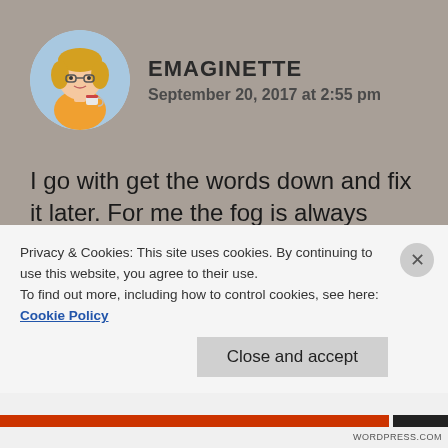[Figure (illustration): Circular avatar illustration of a cartoon woman with glasses, blonde hair, yellow top, holding a coffee cup, on a light blue background]
EMAGINETTE
September 20, 2017 at 2:55 pm
I go with get the words down and fix it later. For me the fog is always there to some degree.
Feedback: I hope this is okay. *shrugs and barrels on* I found the landing page very confusing and almost left. Some random clicking got me here.
Privacy & Cookies: This site uses cookies. By continuing to use this website, you agree to their use.
To find out more, including how to control cookies, see here: Cookie Policy
Close and accept